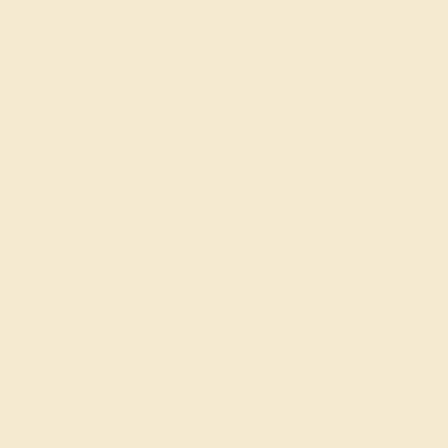jordan 5
nike kyrie 3
michael kors outlet
air max 90
malone souliers mules
cheap rolex watches
nike presto
mizuno running shoes
pandora charms
gucci slides
michael kors outlet
oakley sunglasses
nike tn
bvlgari rings
michael kors outlet on
air jordan 11
replica watches
van cleef & arpels jew
converse
mont blanc pens
longchamp outlet
air max 1
red bottom shoes
cheap nfl jerseys
celine outlet
breitling watches
cheap jerseys